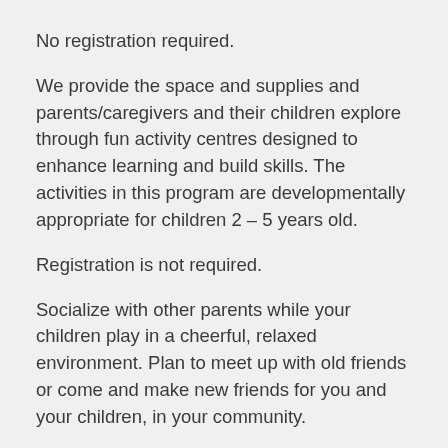No registration required.
We provide the space and supplies and parents/caregivers and their children explore through fun activity centres designed to enhance learning and build skills. The activities in this program are developmentally appropriate for children 2 – 5 years old.
Registration is not required.
Socialize with other parents while your children play in a cheerful, relaxed environment. Plan to meet up with old friends or come and make new friends for you and your children, in your community.
No registration required.
Socialize with other parents while your children play in a cheerful, relaxed environment. Plan to meet up with